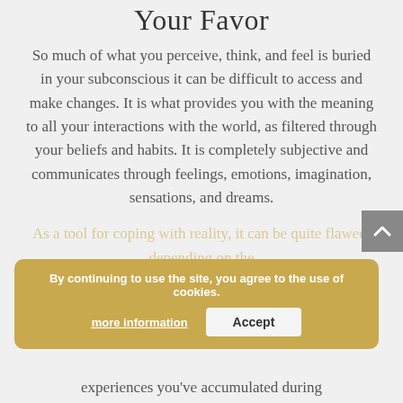Your Favor
So much of what you perceive, think, and feel is buried in your subconscious it can be difficult to access and make changes. It is what provides you with the meaning to all your interactions with the world, as filtered through your beliefs and habits. It is completely subjective and communicates through feelings, emotions, imagination, sensations, and dreams.
As a tool for coping with reality, it can be quite flawed, depending on the experiences you've accumulated during
By continuing to use the site, you agree to the use of cookies. more information  Accept